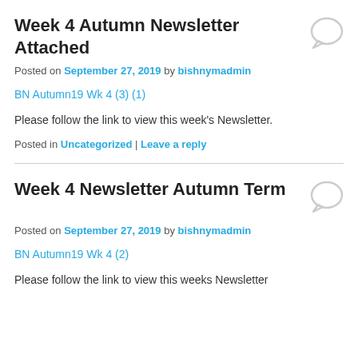Week 4 Autumn Newsletter Attached
Posted on September 27, 2019 by bishnymadmin
BN Autumn19 Wk 4 (3) (1)
Please follow the link to view this week's Newsletter.
Posted in Uncategorized | Leave a reply
Week 4 Newsletter Autumn Term
Posted on September 27, 2019 by bishnymadmin
BN Autumn19 Wk 4 (2)
Please follow the link to view this weeks Newsletter